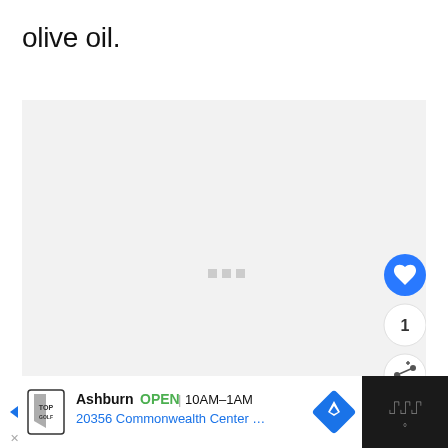olive oil.
[Figure (other): A light gray loading/placeholder content box with three small gray square dots in the center indicating loading state, with a heart/like button (blue circle), a count button showing '1', and a share button on the right side.]
[Figure (other): Advertisement banner at the bottom: Topgolf Ashburn OPEN 10AM-1AM, 20356 Commonwealth Center..., with navigation icon and a dark right panel with a thermometer-like icon.]